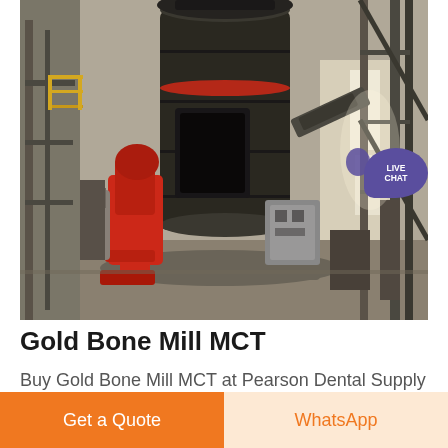[Figure (photo): Industrial grinding mill machine (Gold Bone Mill MCT) in a factory setting. Large black cylindrical mill body mounted on a base with red mechanical components and hydraulic arms. Steel structural framework and windows visible in background.]
Gold Bone Mill MCT
Buy Gold Bone Mill MCT at Pearson Dental Supply for the Best Price Highest Quality Superior Customer
Get a Quote
WhatsApp